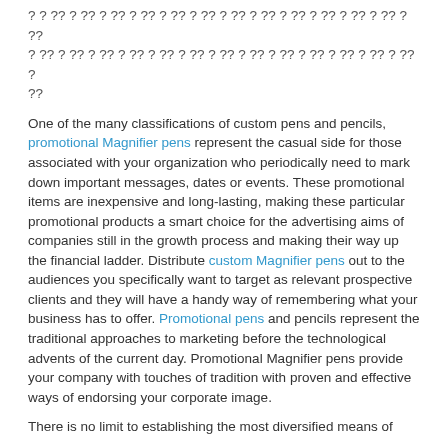? ? ?? ? ?? ? ?? ? ?? ? ?? ? ?? ? ?? ? ?? ? ?? ? ?? ? ?? ? ?? ? ?? ? ?? ? ? ?? ? ?? ? ?? ? ?? ? ?? ? ?? ? ?? ? ?? ? ?? ? ?? ? ?? ? ?? ? ??
One of the many classifications of custom pens and pencils, promotional Magnifier pens represent the casual side for those associated with your organization who periodically need to mark down important messages, dates or events. These promotional items are inexpensive and long-lasting, making these particular promotional products a smart choice for the advertising aims of companies still in the growth process and making their way up the financial ladder. Distribute custom Magnifier pens out to the audiences you specifically want to target as relevant prospective clients and they will have a handy way of remembering what your business has to offer. Promotional pens and pencils represent the traditional approaches to marketing before the technological advents of the current day. Promotional Magnifier pens provide your company with touches of tradition with proven and effective ways of endorsing your corporate image.
There is no limit to establishing the most diversified means of